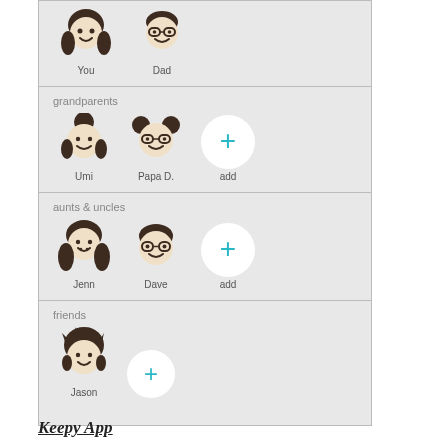[Figure (screenshot): Mobile app screenshot showing a family contacts interface with sections for grandparents (Umi, Papa D., add), aunts & uncles (Jenn, Dave, add), and friends (Jason, add). Top section shows You and Dad icons. Each person is represented by a cartoon avatar icon. Add buttons are white circles with a cyan plus sign.]
Keepy App